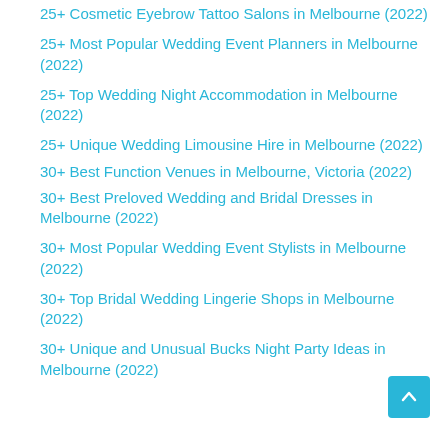25+ Cosmetic Eyebrow Tattoo Salons in Melbourne (2022)
25+ Most Popular Wedding Event Planners in Melbourne (2022)
25+ Top Wedding Night Accommodation in Melbourne (2022)
25+ Unique Wedding Limousine Hire in Melbourne (2022)
30+ Best Function Venues in Melbourne, Victoria (2022)
30+ Best Preloved Wedding and Bridal Dresses in Melbourne (2022)
30+ Most Popular Wedding Event Stylists in Melbourne (2022)
30+ Top Bridal Wedding Lingerie Shops in Melbourne (2022)
30+ Unique and Unusual Bucks Night Party Ideas in Melbourne (2022)